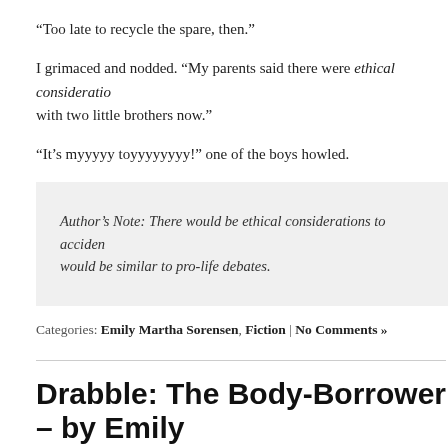“Too late to recycle the spare, then.”
I grimaced and nodded. “My parents said there were ethical considerations. with two little brothers now.”
“It’s myyyyy toyyyyyyyy!” one of the boys howled.
Author’s Note: There would be ethical considerations to acciden would be similar to pro-life debates.
Categories: Emily Martha Sorensen, Fiction | No Comments »
Drabble: The Body-Borrower – by Emily
BY SPECKLIT
“Have you been borrowing my body again?” Tasha demanded, glaring a